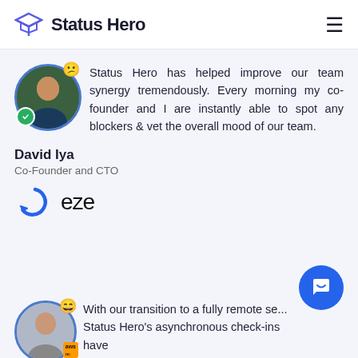Status Hero
Status Hero has helped improve our team synergy tremendously. Every morning my co-founder and I are instantly able to spot any blockers & vet the overall mood of our team.
David Iya
Co-Founder and CTO
[Figure (logo): eze company logo with blue circular arrow icon and 'eze' text]
With our transition to a fully remote se... Status Hero's asynchronous check-ins have